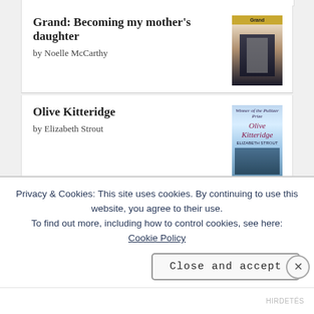Grand: Becoming my mother's daughter by Noelle McCarthy
Olive Kitteridge by Elizabeth Strout
The Secrets of Strangers by Charity Norman
[Figure (screenshot): Goodreads logo/button bar]
Privacy & Cookies: This site uses cookies. By continuing to use this website, you agree to their use. To find out more, including how to control cookies, see here: Cookie Policy
Close and accept